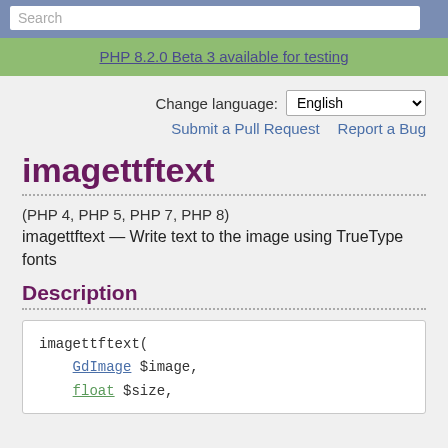Search
PHP 8.2.0 Beta 3 available for testing
Change language: English
Submit a Pull Request   Report a Bug
imagettftext
(PHP 4, PHP 5, PHP 7, PHP 8)
imagettftext — Write text to the image using TrueType fonts
Description